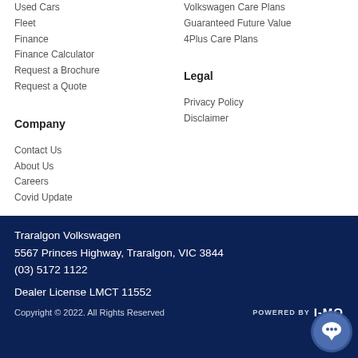Used Cars
Fleet
Finance
Finance Calculator
Request a Brochure
Request a Quote
Volkswagen Care Plans
Guaranteed Future Value
4Plus Care Plans
Company
Legal
Contact Us
About Us
Careers
Covid Update
Privacy Policy
Disclaimer
Traralgon Volkswagen
5567 Princes Highway, Traralgon, VIC 3844
(03) 5172 1122

Dealer License LMCT 11552

Copyright © 2022. All Rights Reserved
POWERED BY I-MO